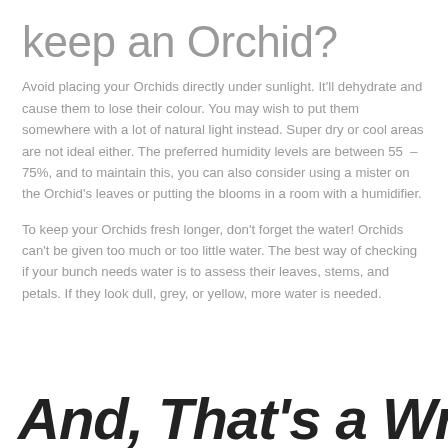keep an Orchid?
Avoid placing your Orchids directly under sunlight. It'll dehydrate and cause them to lose their colour. You may wish to put them somewhere with a lot of natural light instead. Super dry or cool areas are not ideal either. The preferred humidity levels are between 55 – 75%, and to maintain this, you can also consider using a mister on the Orchid's leaves or putting the blooms in a room with a humidifier.
To keep your Orchids fresh longer, don't forget the water! Orchids can't be given too much or too little water. The best way of checking if your bunch needs water is to assess their leaves, stems, and petals. If they look dull, grey, or yellow, more water is needed.
And, That's a Wrap